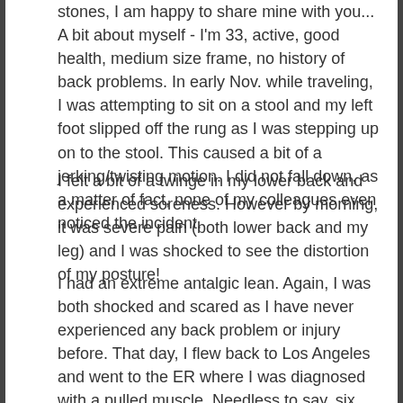stones, I am happy to share mine with you... A bit about myself - I'm 33, active, good health, medium size frame, no history of back problems. In early Nov. while traveling, I was attempting to sit on a stool and my left foot slipped off the rung as I was stepping up on to the stool. This caused a bit of a jerking/twisting motion. I did not fall down, as a matter of fact, none of my colleagues even noticed the incident.
I felt a bit of a twinge in my lower back and experienced soreness. However by morning, it was severe pain (both lower back and my leg) and I was shocked to see the distortion of my posture!
I had an extreme antalgic lean. Again, I was both shocked and scared as I have never experienced any back problem or injury before. That day, I flew back to Los Angeles and went to the ER where I was diagnosed with a pulled muscle. Needless to say, six weeks later, I was diagnosed with a herniated disc (L4L5, apprx.7mm left posterior with nerve displacement, including drop foot). I was originally prescribed NSAIDs and Flexeril. Then I tried a 5 week pack of Medrol. After that, it was PT twice a week and a Chiropractor for stim and massage. Then it was